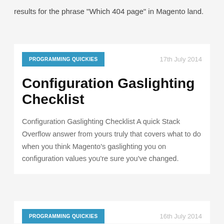results for the phrase "Which 404 page" in Magento land.
PROGRAMMING QUICKIES
17th July 2014
Configuration Gaslighting Checklist
Configuration Gaslighting Checklist A quick Stack Overflow answer from yours truly that covers what to do when you think Magento’s gaslighting you on configuration values you’re sure you’ve changed.
PROGRAMMING QUICKIES
16th July 2014